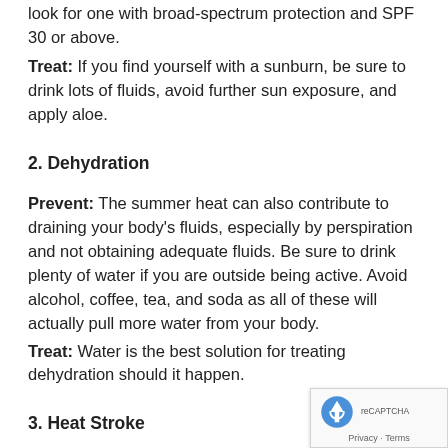look for one with broad-spectrum protection and SPF 30 or above.
Treat: If you find yourself with a sunburn, be sure to drink lots of fluids, avoid further sun exposure, and apply aloe.
2. Dehydration
Prevent: The summer heat can also contribute to draining your body's fluids, especially by perspiration and not obtaining adequate fluids. Be sure to drink plenty of water if you are outside being active. Avoid alcohol, coffee, tea, and soda as all of these will actually pull more water from your body.
Treat: Water is the best solution for treating dehydration should it happen.
3. Heat Stroke
Prevent: One of the most serious health risks from extreme heat is heat stroke. Heat stroke usually occurs